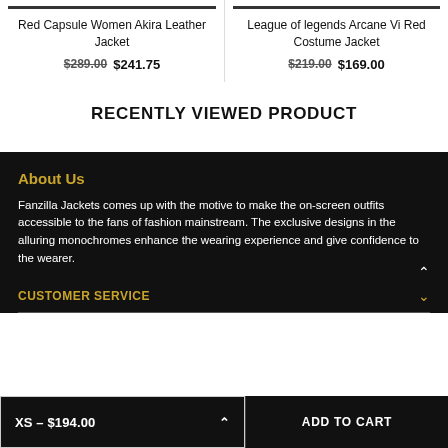Red Capsule Women Akira Leather Jacket
$289.00  $241.75
League of legends Arcane Vi Red Costume Jacket
$219.00  $169.00
RECENTLY VIEWED PRODUCT
About Us
Fanzilla Jackets comes up with the motive to make the on-screen outfits accessible to the fans of fashion mainstream. The exclusive designs in the alluring monochromes enhance the wearing experience and give confidence to the wearer.
CUSTOMER SERVICE
XS – $194.00
ADD TO CART